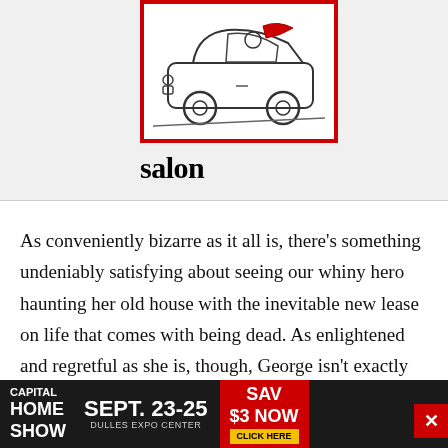[Figure (illustration): Line drawing illustration of a car (taxi-style vehicle) with a figure inside, framed with a thick red border. Below the illustration is the word 'salon' in bold black serif font.]
As conveniently bizarre as it all is, there's something undeniably satisfying about seeing our whiny hero haunting her old house with the inevitable new lease on life that comes with being dead. As enlightened and regretful as she is, though, George isn't exactly up to her emotionally grueling afterlife and continually tries
[Figure (screenshot): Advertisement banner for Capital Home Show, Sept. 23-25 at Dulles Expo Center. Dark background with red accent. Text: CAPITAL HOME SHOW / SEPT. 23-25 / DULLES EXPO CENTER / SAV $3 NOW / CLICK HERE]